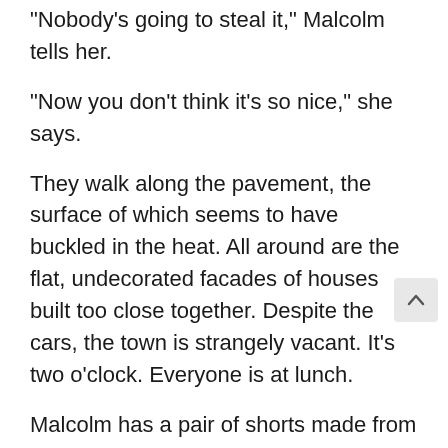"Nobody's going to steal it," Malcolm tells her.
"Now you don't think it's so nice," she says.
They walk along the pavement, the surface of which seems to have buckled in the heat. All around are the flat, undecorated facades of houses built too close together. Despite the cars, the town is strangely vacant. It's two o'clock. Everyone is at lunch.
Malcolm has a pair of shorts made from rough cotton, the blue glazed cotton of the Taureg. They have a little belt, slim as a finger, which goes only halfway around. He feels powerful as he puts them on. He has a runner's body, a body without flaws, the body of a martyr in a Flemish painting. One can see vessels laid like cord beneath the surface of his limbs. The cabins have a concrete